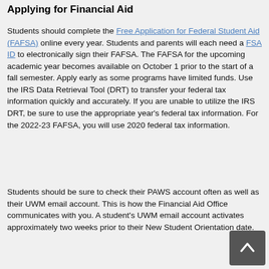Applying for Financial Aid
Students should complete the Free Application for Federal Student Aid (FAFSA) online every year. Students and parents will each need a FSA ID to electronically sign their FAFSA. The FAFSA for the upcoming academic year becomes available on October 1 prior to the start of a fall semester. Apply early as some programs have limited funds. Use the IRS Data Retrieval Tool (DRT) to transfer your federal tax information quickly and accurately. If you are unable to utilize the IRS DRT, be sure to use the appropriate year's federal tax information. For the 2022-23 FAFSA, you will use 2020 federal tax information.
Students should be sure to check their PAWS account often as well as their UWM email account. This is how the Financial Aid Office communicates with you. A student's UWM email account activates approximately two weeks prior to their New Student Orientation date.